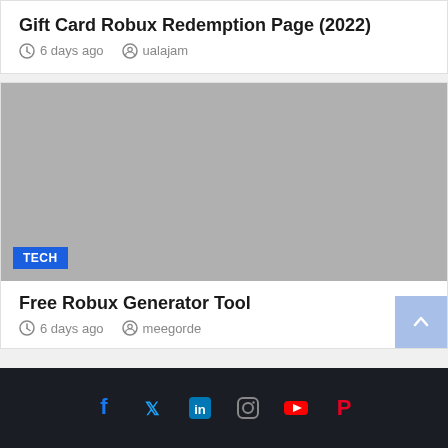Gift Card Robux Redemption Page (2022)
6 days ago   ualajam
[Figure (photo): Gray placeholder image with a blue TECH badge in the lower left corner]
Free Robux Generator Tool
6 days ago   meegorde
Facebook Twitter LinkedIn Instagram YouTube Pinterest social icons